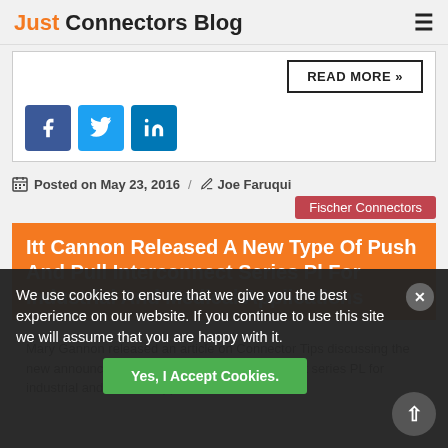Just Connectors Blog
[Figure (screenshot): READ MORE button in bordered box]
[Figure (infographic): Social sharing icons: Facebook, Twitter, LinkedIn]
Posted on May 23, 2016 / Joe Faruqui
Fischer Connectors
Itt Cannon Released A New Type Of Push And Pull Interconnect Series Pl For Industrial And Medical Applications
Mary Gannon released an article on Connector Tips discussing the new announcement of the new type of push and pull interconnect series PL for industrial and medical applications. The ITT
We use cookies to ensure that we give you the best experience on our website. If you continue to use this site we will assume that you are happy with it.
Yes, I Accept Cookies.